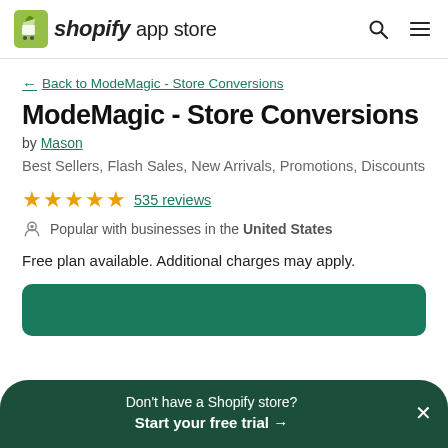shopify app store
← Back to ModeMagic - Store Conversions
ModeMagic - Store Conversions
by Mason
Best Sellers, Flash Sales, New Arrivals, Promotions, Discounts
★★★★★ 535 reviews
Popular with businesses in the United States
Free plan available. Additional charges may apply.
Don't have a Shopify store? Start your free trial →